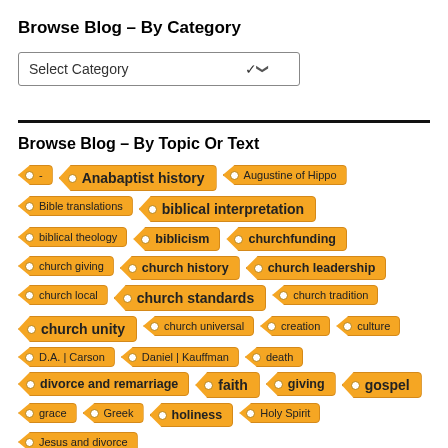Browse Blog – By Category
Select Category (dropdown)
Browse Blog – By Topic Or Text
-
Anabaptist history
Augustine of Hippo
Bible translations
biblical interpretation
biblical theology
biblicism
churchfunding
church giving
church history
church leadership
church local
church standards
church tradition
church unity
church universal
creation
culture
D.A. | Carson
Daniel | Kauffman
death
divorce and remarriage
faith
giving
gospel
grace
Greek
holiness
Holy Spirit
Jesus and divorce